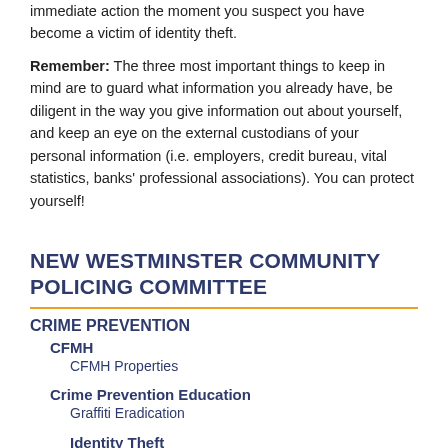immediate action the moment you suspect you have become a victim of identity theft.
Remember: The three most important things to keep in mind are to guard what information you already have, be diligent in the way you give information out about yourself, and keep an eye on the external custodians of your personal information (i.e. employers, credit bureau, vital statistics, banks' professional associations). You can protect yourself!
NEW WESTMINSTER COMMUNITY POLICING COMMITTEE
CRIME PREVENTION
CFMH
CFMH Properties
Crime Prevention Education
Graffiti Eradication
Identity Theft